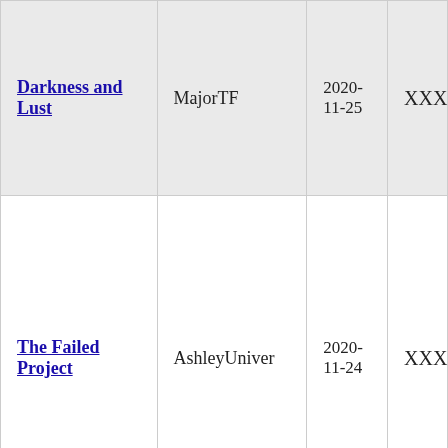| Title | Author | Date | Rating |
| --- | --- | --- | --- |
| Darkness and Lust | MajorTF | 2020-11-25 | XXX |
| The Failed Project | AshleyUniver | 2020-11-24 | XXX |
|  |  |  |  |